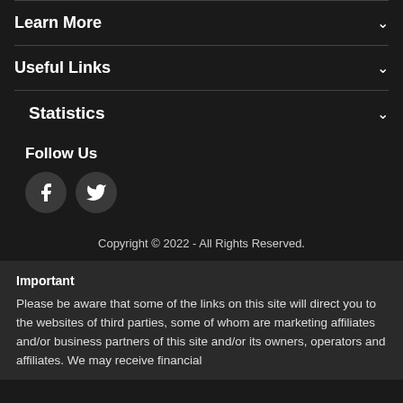Learn More
Useful Links
Statistics
Follow Us
[Figure (illustration): Facebook and Twitter social media icons as circular buttons]
Copyright © 2022 - All Rights Reserved.
Important
Please be aware that some of the links on this site will direct you to the websites of third parties, some of whom are marketing affiliates and/or business partners of this site and/or its owners, operators and affiliates. We may receive financial